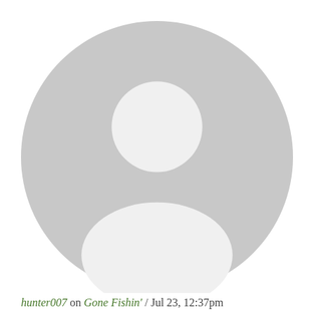[Figure (illustration): Generic user avatar icon — a grey circle with a white silhouette of a person (head and shoulders)]
hunter007 on Gone Fishin' / Jul 23, 12:37pm
Welcome to the club. Travis goes on a much deserved getaway once a year. You will make many times over your subscription...
READ MORE
We use cookies on this site to enhance your user experience. By clicking any link on this page you are giving your consent for us to set cookies.
MORE INFO ›
OK, I AGREE